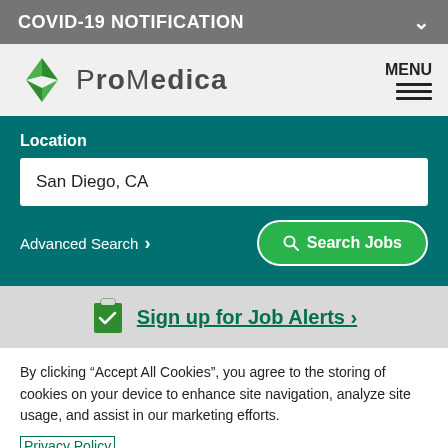COVID-19 NOTIFICATION
[Figure (logo): ProMedica logo with green arrow/shield icon and text PROMEDICA]
Location
San Diego, CA
Advanced Search
Search Jobs
Sign up for Job Alerts
By clicking “Accept All Cookies”, you agree to the storing of cookies on your device to enhance site navigation, analyze site usage, and assist in our marketing efforts.
Privacy Policy